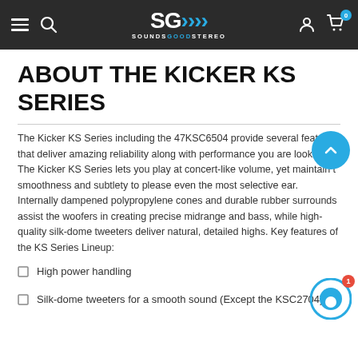SG SOUNDSGOODSTEREO — navigation header
ABOUT THE KICKER KS SERIES
The Kicker KS Series including the 47KSC6504 provide several features that deliver amazing reliability along with performance you are looking for. The Kicker KS Series lets you play at concert-like volume, yet maintain the smoothness and subtlety to please even the most selective ear. Internally dampened polypropylene cones and durable rubber surrounds assist the woofers in creating precise midrange and bass, while high-quality silk-dome tweeters deliver natural, detailed highs. Key features of the KS Series Lineup:
High power handling
Silk-dome tweeters for a smooth sound (Except the KSC2704)